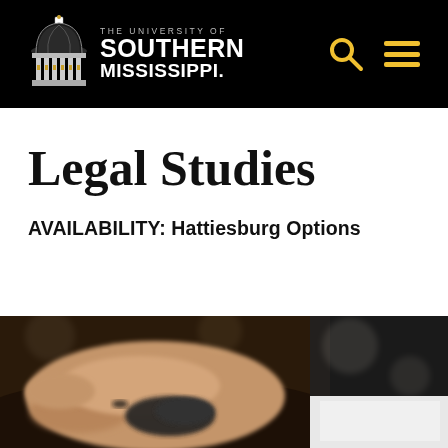THE UNIVERSITY OF SOUTHERN MISSISSIPPI
Legal Studies
AVAILABILITY: Hattiesburg Options
[Figure (photo): Close-up photo of a person's hand on a computer mouse, with a business suit sleeve visible in the background, blurred bokeh style]